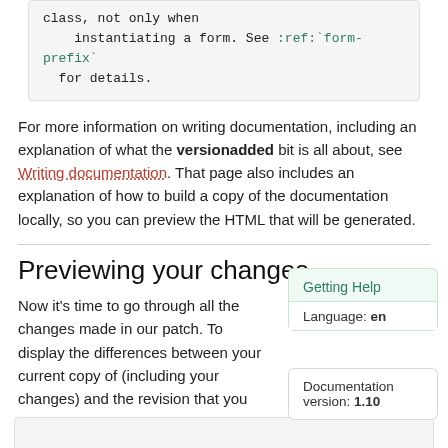class, not only when
    instantiating a form. See :ref:`form-prefix`
  for details.
For more information on writing documentation, including an explanation of what the versionadded bit is all about, see Writing documentation. That page also includes an explanation of how to build a copy of the documentation locally, so you can preview the HTML that will be generated.
Previewing your changes
Getting Help
Language: en
Documentation version: 1.10
Now it's time to go through all the changes made in our patch. To display the differences between your current copy of (including your changes) and the revision that you initially checked out in the tutorial: